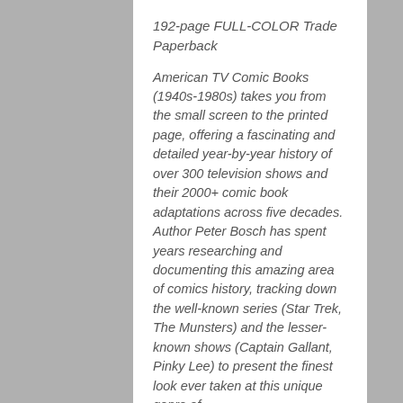192-page FULL-COLOR Trade Paperback
American TV Comic Books (1940s-1980s) takes you from the small screen to the printed page, offering a fascinating and detailed year-by-year history of over 300 television shows and their 2000+ comic book adaptations across five decades. Author Peter Bosch has spent years researching and documenting this amazing area of comics history, tracking down the well-known series (Star Trek, The Munsters) and the lesser-known shows (Captain Gallant, Pinky Lee) to present the finest look ever taken at this unique genre of